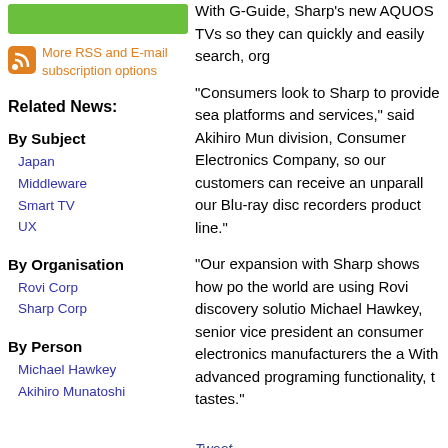[Figure (other): Green subscription button (partially visible)]
More RSS and E-mail subscription options
Related News:
By Subject
Japan
Middleware
Smart TV
UX
By Organisation
Rovi Corp
Sharp Corp
By Person
Michael Hawkey
Akihiro Munatoshi
With G-Guide, Sharp's new AQUOS TVs so they can quickly and easily search, org
“Consumers look to Sharp to provide sea platforms and services,” said Akihiro Mun division, Consumer Electronics Company, so our customers can receive an unparall our Blu-ray disc recorders product line.”
“Our expansion with Sharp shows how po the world are using Rovi discovery solutio Michael Hawkey, senior vice president an consumer electronics manufacturers the a With advanced programing functionality, t tastes.”
Tweet
Related